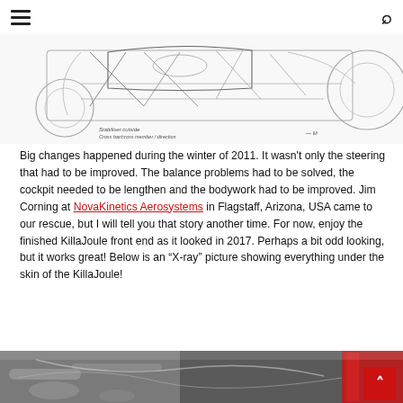Navigation bar with hamburger menu and search icon
[Figure (schematic): Technical line drawing/schematic of a streamlined vehicle (KillaJoule) front end structure, showing frame tubing, cockpit, and wheel details. Handwritten notes at bottom reference structure details and a dimension line.]
Big changes happened during the winter of 2011. It wasn't only the steering that had to be improved. The balance problems had to be solved, the cockpit needed to be lengthen and the bodywork had to be improved. Jim Corning at NovaKinetics Aerosystems in Flagstaff, Arizona, USA came to our rescue, but I will tell you that story another time. For now, enjoy the finished KillaJoule front end as it looked in 2017. Perhaps a bit odd looking, but it works great! Below is an “X-ray” picture showing everything under the skin of the KillaJoule!
[Figure (photo): Photograph of the KillaJoule vehicle interior/frame components, showing metal tubes, cables, and mechanical parts. A red structural element is visible on the right side.]